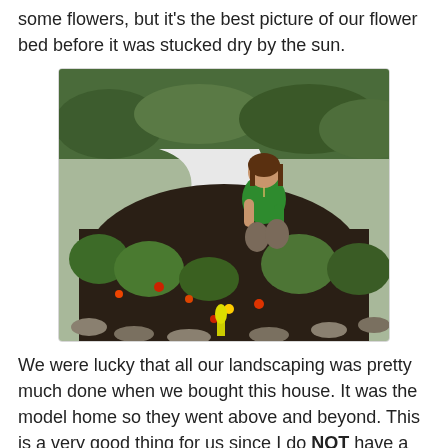some flowers, but it's the best picture of our flower bed before it was stucked dry by the sun.
[Figure (photo): Woman in green dress crouching in a flower bed with dark mulch, various plants and small blooming flowers, green bushes and shrubs in the background, outdoor garden setting.]
We were lucky that all our landscaping was pretty much done when we bought this house. It was the model home so they went above and beyond. This is a very good thing for us since I do NOT have a green thumb. It's hard for me to keep things alive. My favorite part of our landscaping are the rose bushes. You can't really see the blooms in this picture.
[Figure (photo): Brick house exterior with arched window, garage, and landscaping visible at the bottom portion of the image.]